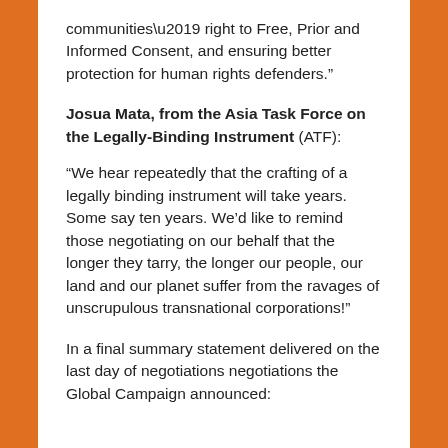communities’ right to Free, Prior and Informed Consent, and ensuring better protection for human rights defenders.”
Josua Mata, from the Asia Task Force on the Legally-Binding Instrument (ATF):
“We hear repeatedly that the crafting of a legally binding instrument will take years. Some say ten years. We’d like to remind those negotiating on our behalf that the longer they tarry, the longer our people, our land and our planet suffer from the ravages of unscrupulous transnational corporations!”
In a final summary statement delivered on the last day of negotiations negotiations the Global Campaign announced: